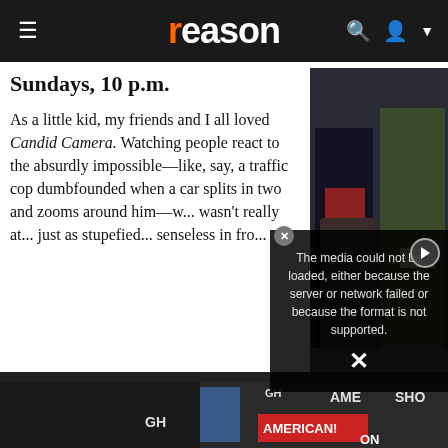reason
Sundays, 10 p.m.
[Figure (photo): Two people seated on stage; one in dark suit on left, one in military green outfit on right. Photo credit: 'Who Is America?,' Showtime]
'Who Is America?,' Showtime
As a little kid, my friends and I all loved Candid Camera. Watching people react to the absurdly impossible—like, say, a traffic cop dumbfounded when a car splits in two and zooms around him—w... wasn't really at... just as stupefied... senseless in fro...
[Figure (screenshot): Video player error overlay showing 'The media could not be loaded, either because the server or network failed or because the format is not supported.' with play button and close X]
[Figure (photo): Bottom strip showing protest scene with signs including 'AMERICAN!' on red banner and other partially visible protest signs]